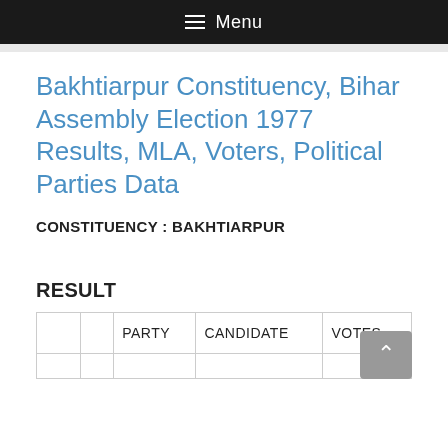≡ Menu
Bakhtiarpur Constituency, Bihar Assembly Election 1977 Results, MLA, Voters, Political Parties Data
CONSTITUENCY : BAKHTIARPUR
RESULT
|  |  | PARTY | CANDIDATE | VOTES |
| --- | --- | --- | --- | --- |
|  |  |  |  |  |